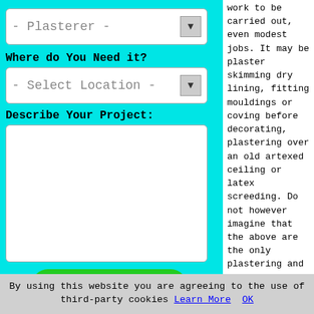[Figure (screenshot): Web form with cyan background showing a plasterer type dropdown, location selector dropdown, project description textarea, and green submit button]
work to be carried out, even modest jobs. It may be plaster skimming dry lining, fitting mouldings or coving before decorating, plastering over an old artexed ceiling or latex screeding. Do not however imagine that the above are the only plastering and screeding
By using this website you are agreeing to the use of third-party cookies Learn More OK